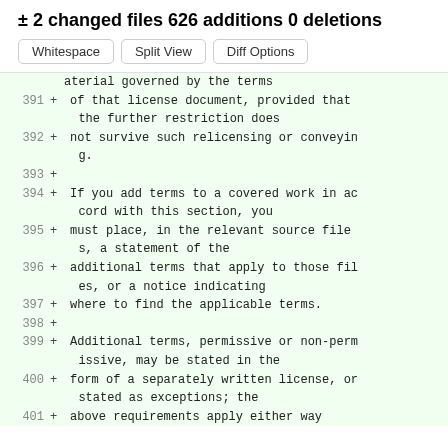± 2 changed files 626 additions 0 deletions
Whitespace  Split View  Diff Options
aterial governed by the terms
391 + of that license document, provided that the further restriction does
392 + not survive such relicensing or conveying.
393 +
394 + If you add terms to a covered work in accord with this section, you
395 + must place, in the relevant source files, a statement of the
396 + additional terms that apply to those files, or a notice indicating
397 + where to find the applicable terms.
398 +
399 + Additional terms, permissive or non-permissive, may be stated in the
400 + form of a separately written license, or stated as exceptions; the
401 + above requirements apply either way